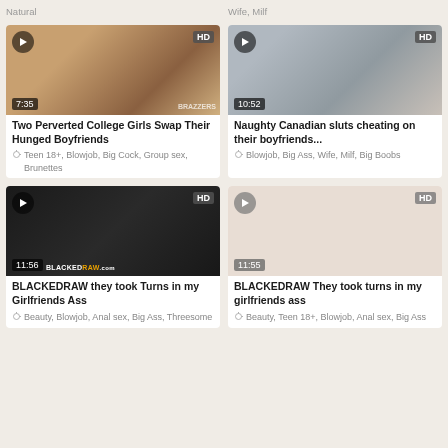Natural
Wife, Milf
[Figure (photo): Video thumbnail: Two Perverted College Girls Swap Their Hunged Boyfriends, duration 7:35, HD]
Two Perverted College Girls Swap Their Hunged Boyfriends
Teen 18+, Blowjob, Big Cock, Group sex, Brunettes
[Figure (photo): Video thumbnail: Naughty Canadian sluts cheating on their boyfriends..., duration 10:52, HD]
Naughty Canadian sluts cheating on their boyfriends...
Blowjob, Big Ass, Wife, Milf, Big Boobs
[Figure (photo): Video thumbnail: BLACKEDRAW they took Turns in my Girlfriends Ass, duration 11:56, HD]
BLACKEDRAW they took Turns in my Girlfriends Ass
Beauty, Blowjob, Anal sex, Big Ass, Threesome
[Figure (photo): Video thumbnail: BLACKEDRAW They took turns in my girlfriends ass, duration 11:55, HD]
BLACKEDRAW They took turns in my girlfriends ass
Beauty, Teen 18+, Blowjob, Anal sex, Big Ass